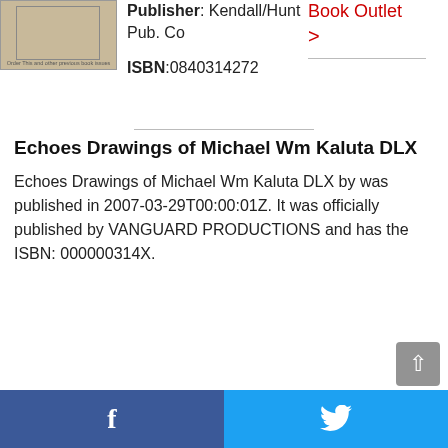[Figure (illustration): Book cover thumbnail, beige/tan colored with inner border rectangle]
Publisher: Kendall/Hunt Pub. Co
Book Outlet >
ISBN:0840314272
Echoes Drawings of Michael Wm Kaluta DLX
Echoes Drawings of Michael Wm Kaluta DLX by was published in 2007-03-29T00:00:01Z. It was officially published by VANGUARD PRODUCTIONS and has the ISBN: 000000314X.
[Figure (other): Scroll-to-top button, grey rounded rectangle with upward arrow]
f  [Facebook share button]  [Twitter share button]